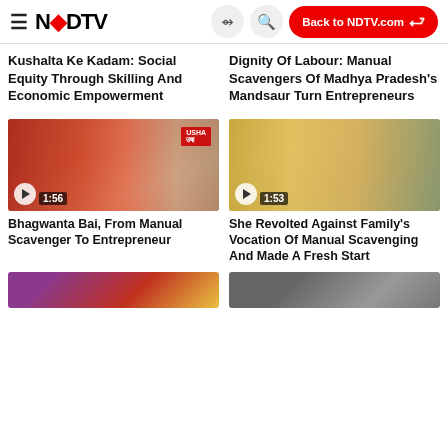NDTV — Back to NDTV.com
Kushalta Ke Kadam: Social Equity Through Skilling And Economic Empowerment
Dignity Of Labour: Manual Scavengers Of Madhya Pradesh's Mandsaur Turn Entrepreneurs
[Figure (screenshot): Video thumbnail showing a woman in red sari seated near a sewing machine with USHA Silai School banner, duration 1:56]
[Figure (screenshot): Video thumbnail showing a woman in yellow/orange sari seated outdoors, duration 1:53]
Bhagwanta Bai, From Manual Scavenger To Entrepreneur
She Revolted Against Family's Vocation Of Manual Scavenging And Made A Fresh Start
[Figure (screenshot): Partial video thumbnail bottom left, showing colorful scene]
[Figure (screenshot): Partial video thumbnail bottom right, showing a person]